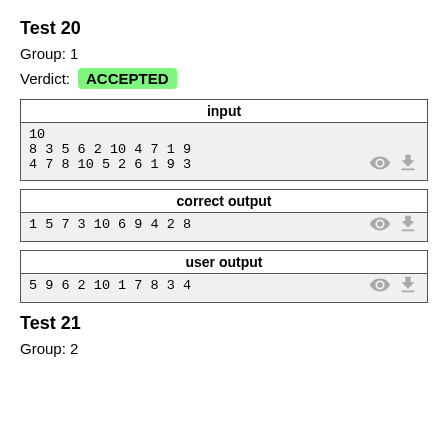Test 20
Group: 1
Verdict: ACCEPTED
| input |
| --- |
| 10
8 3 5 6 2 10 4 7 1 9
4 7 8 10 5 2 6 1 9 3 |
| correct output |
| --- |
| 1 5 7 3 10 6 9 4 2 8 |
| user output |
| --- |
| 5 9 6 2 10 1 7 8 3 4 |
Test 21
Group: 2